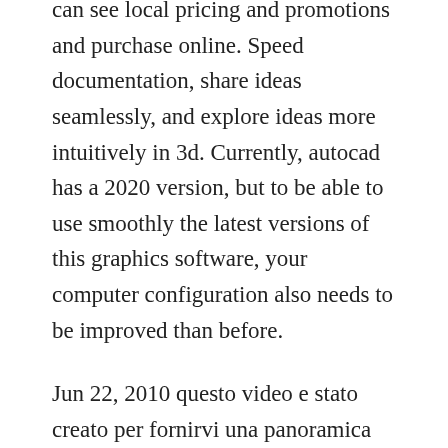can see local pricing and promotions and purchase online. Speed documentation, share ideas seamlessly, and explore ideas more intuitively in 3d. Currently, autocad has a 2020 version, but to be able to use smoothly the latest versions of this graphics software, your computer configuration also needs to be improved than before.
Jun 22, 2010 questo video e stato creato per fornirvi una panoramica sul processo di preparazione ed esecuzione di uninstallazione indipendente di autocad 2010. Revit modern house autodesk revit architecture 2019